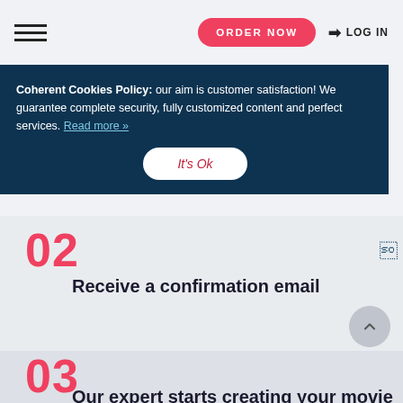ORDER NOW  LOG IN
Coherent Cookies Policy: our aim is customer satisfaction! We guarantee complete security, fully customized content and perfect services. Read more »
It's Ok
02
Receive a confirmation email
03
Our expert starts creating your movie